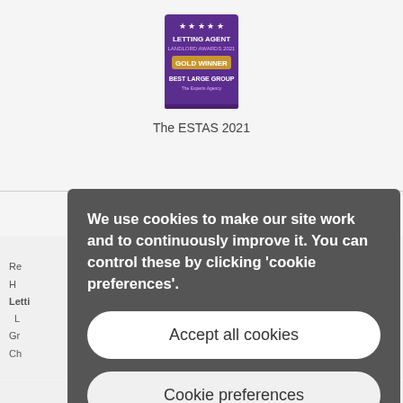[Figure (logo): Award badge: Letting Agent Landlord Awards 2021, Gold Winner, Best Large Group, The ESTAS]
The ESTAS 2021
We use cookies to make our site work and to continuously improve it. You can control these by clicking 'cookie preferences'.
Accept all cookies
Cookie preferences
and regulated by the Financial Conduct Authority.